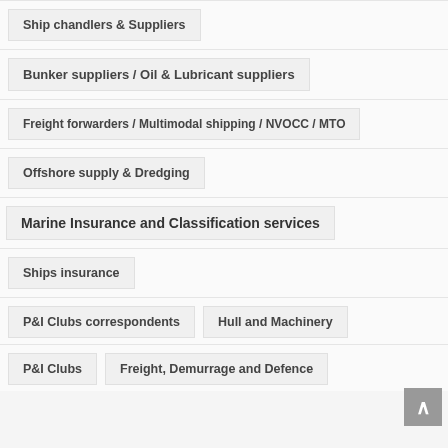Ship chandlers & Suppliers
Bunker suppliers / Oil & Lubricant suppliers
Freight forwarders / Multimodal shipping / NVOCC / MTO
Offshore supply & Dredging
Marine Insurance and Classification services
Ships insurance
P&I Clubs correspondents
Hull and Machinery
P&I Clubs
Freight, Demurrage and Defence